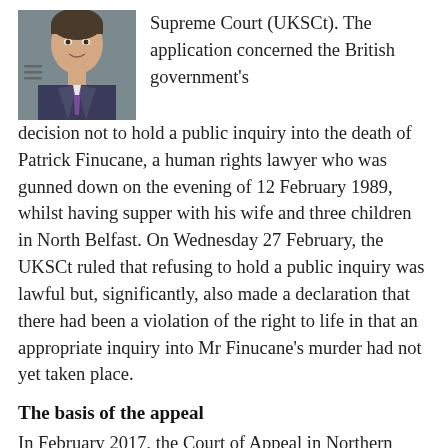[Figure (photo): Portrait photo of a man in a suit with a purple tie]
Supreme Court (UKSCt). The application concerned the British government's decision not to hold a public inquiry into the death of Patrick Finucane, a human rights lawyer who was gunned down on the evening of 12 February 1989, whilst having supper with his wife and three children in North Belfast. On Wednesday 27 February, the UKSCt ruled that refusing to hold a public inquiry was lawful but, significantly, also made a declaration that there had been a violation of the right to life in that an appropriate inquiry into Mr Finucane's murder had not yet taken place.
The basis of the appeal
In February 2017, the Court of Appeal in Northern ruled that the UK government's